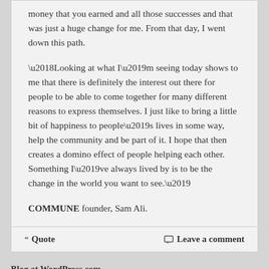money that you earned and all those successes and that was just a huge change for me. From that day, I went down this path.
‘Looking at what I’m seeing today shows to me that there is definitely the interest out there for people to be able to come together for many different reasons to express themselves. I just like to bring a little bit of happiness to people’s lives in some way, help the community and be part of it. I hope that then creates a domino effect of people helping each other. Something I’ve always lived by is to be the change in the world you want to see.’
COMMUNE founder, Sam Ali.
Blog at WordPress.com.